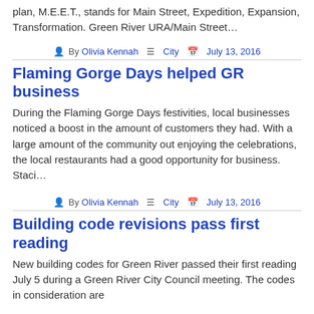plan, M.E.E.T., stands for Main Street, Expedition, Expansion, Transformation. Green River URA/Main Street…
By Olivia Kennah  City  July 13, 2016
Flaming Gorge Days helped GR business
During the Flaming Gorge Days festivities, local businesses noticed a boost in the amount of customers they had. With a large amount of the community out enjoying the celebrations, the local restaurants had a good opportunity for business. Staci…
By Olivia Kennah  City  July 13, 2016
Building code revisions pass first reading
New building codes for Green River passed their first reading July 5 during a Green River City Council meeting. The codes in consideration are